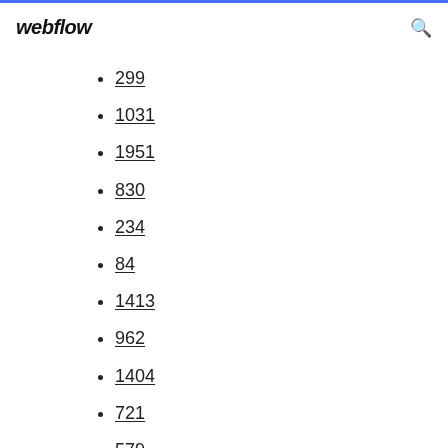webflow
299
1031
1951
830
234
84
1413
962
1404
721
579
1627